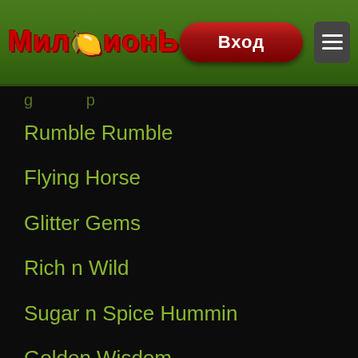МилЛионЬ | Вход | ☰
Rumble Rumble
Flying Horse
Glitter Gems
Rich n Wild
Sugar n Spice Hummin
Golden Wisdom
Wild Nights Crazy Feature
Stormin 7s
Crystal Cash